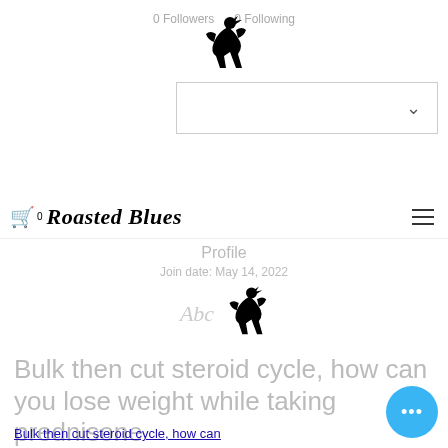0 Followers  0 Following
[Figure (logo): Kokopelli figure logo at top of page]
[Figure (screenshot): Dropdown input box with chevron]
🛒⁰ Roasted Blues  ☰
Profile
Join date: May 14, 2022
[Figure (logo): Abc text and Kokopelli figure logo]
Bulk then cut steroid cycle, how can you lose weight while taking prednisone
Bulk then cut steroid cycle, how can you lose weight while taking
[Figure (other): Blue circular chat button with three dots]